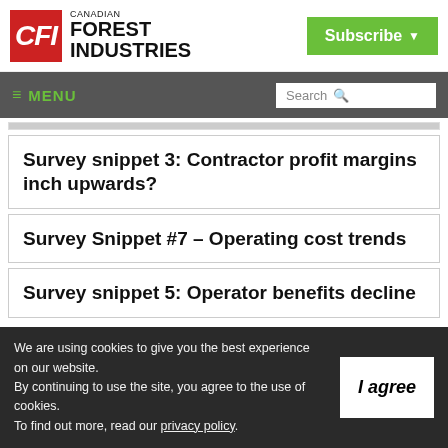Canadian Forest Industries | CFI
≡ MENU | Search
Survey snippet 3: Contractor profit margins inch upwards?
Survey Snippet #7 – Operating cost trends
Survey snippet 5: Operator benefits decline
We are using cookies to give you the best experience on our website. By continuing to use the site, you agree to the use of cookies. To find out more, read our privacy policy.